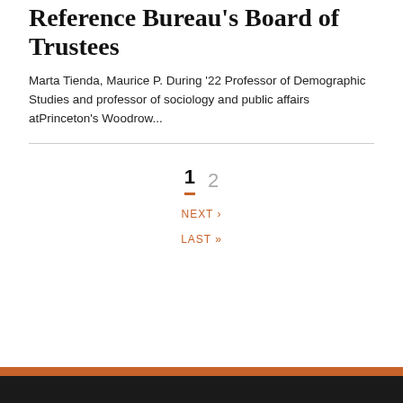Reference Bureau's Board of Trustees
Marta Tienda, Maurice P. During '22 Professor of Demographic Studies and professor of sociology and public affairs atPrinceton's Woodrow...
1  2  NEXT ›  LAST »